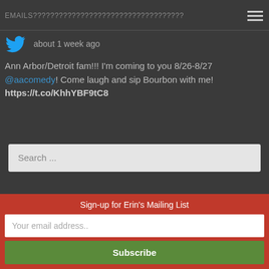EMAILS???????????????????????????????????
about 1 week ago
Ann Arbor/Detroit fam!!! I'm coming to you 8/26-8/27 @aacomedy! Come laugh and sip Bourbon with me! https://t.co/KhhYBF9tC8
Search ...
© 2021 Erin Jackson
Sign-up for Erin's Mailing List
Your email address..
Subscribe